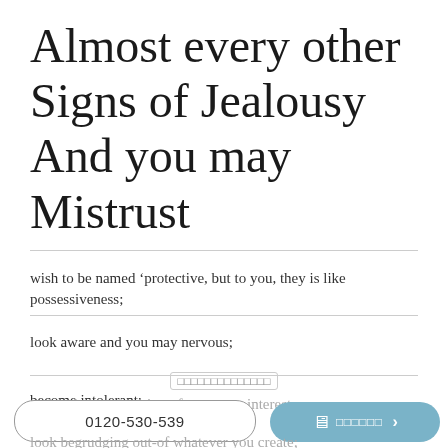Almost every other Signs of Jealousy And you may Mistrust
wish to be named ‘protective, but to you, they is like possessiveness;
look aware and you may nervous;
become intolerant;
end up being requiring of your own interest;
look begrudging out-of whatever you create;